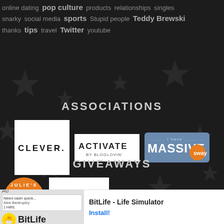online dating pop culture products relationships singles snarky social media sports Stupid people Teddy Brewski thanks tips travel Twitter youtube
ASSOCIATIONS
[Figure (logo): Three logos: CLEVER., ACTIVATE BY BLOGLOVIN, i have MASSIVE sway]
GIVEAWAYS
[Figure (logo): Julie's logo (orange circle with character) and Infinity loop logo on white background, plus Sweepstake text]
[Figure (screenshot): Ad banner: BitLife - Life Simulator with Install button and X close button]